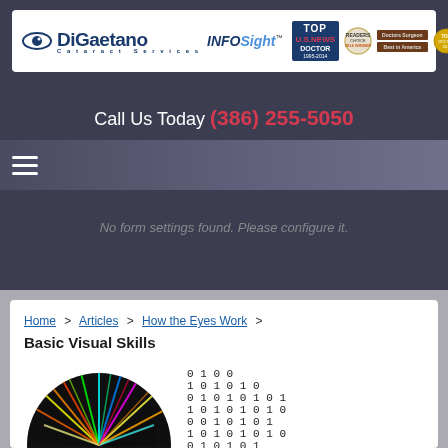[Figure (logo): DiGaetano Cataract Services INFOSight logo with Top Doctor US News awards and badges]
Call Us Today (386) 255-5050
No form settings found. Please configure it.
Home > Articles > How the Eyes Work > Basic Visual Skills
[Figure (illustration): Partial circular image with colorful lines and a binary code pattern image]